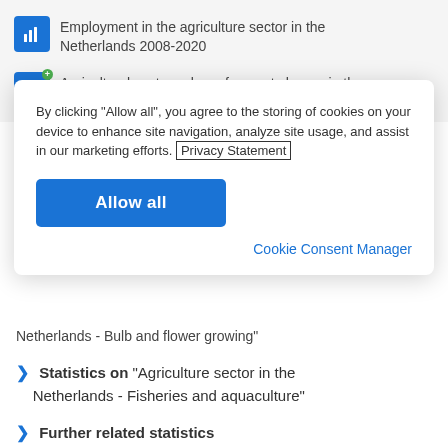Employment in the agriculture sector in the Netherlands 2008-2020
Agricultural sector volume forecast change in the Netherlands 2014-2022
By clicking "Allow all", you agree to the storing of cookies on your device to enhance site navigation, analyze site usage, and assist in our marketing efforts. Privacy Statement
Allow all
Cookie Consent Manager
Netherlands - Bulb and flower growing"
Statistics on "Agriculture sector in the Netherlands - Fisheries and aquaculture"
Further related statistics